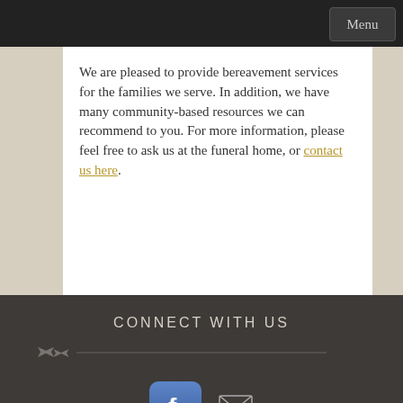Menu
We are pleased to provide bereavement services for the families we serve. In addition, we have many community-based resources we can recommend to you. For more information, please feel free to ask us at the funeral home, or contact us here.
CONNECT WITH US
[Figure (other): Decorative divider line with arrow/leaf ornaments on both ends]
[Figure (other): Facebook social media icon button (blue with white 'f' logo) and email/envelope icon]